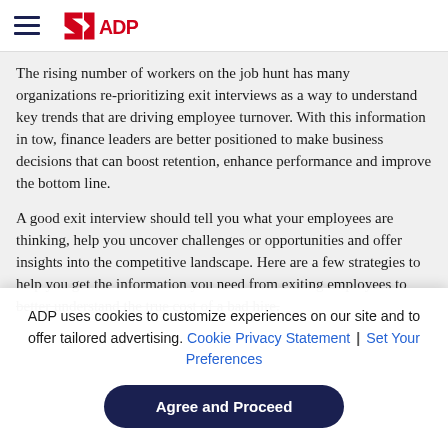ADP logo and navigation menu
The rising number of workers on the job hunt has many organizations re-prioritizing exit interviews as a way to understand key trends that are driving employee turnover. With this information in tow, finance leaders are better positioned to make business decisions that can boost retention, enhance performance and improve the bottom line.
A good exit interview should tell you what your employees are thinking, help you uncover challenges or opportunities and offer insights into the competitive landscape. Here are a few strategies to help you get the information you need from exiting employees to better understand the true cost of a bad hire.
ADP uses cookies to customize experiences on our site and to offer tailored advertising. Cookie Privacy Statement | Set Your Preferences
Agree and Proceed